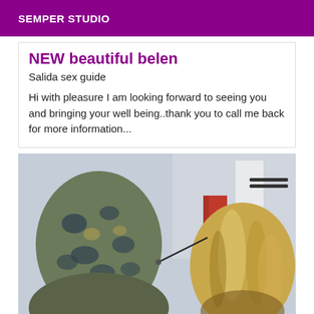SEMPER STUDIO
NEW beautiful belen
Salida sex guide
Hi with pleasure I am looking forward to seeing you and bringing your well being..thank you to call me back for more information...
[Figure (photo): Two people viewed from behind, one wearing a leopard-print head covering, the other with blonde streaked hair, indoors with a light-colored wall and red curtain in background.]